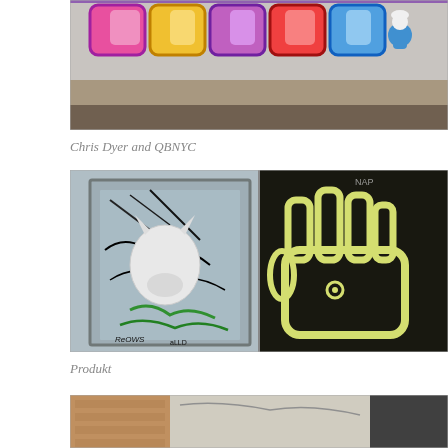[Figure (photo): Colorful graffiti mural on a brick wall featuring large bubble letters in pink, yellow, and purple, with a cartoon character (Smurf) on the right side. Chris Dyer and QBNYC street art.]
Chris Dyer and QBNYC
[Figure (photo): Two side-by-side photos: left shows a metal door covered in graffiti tags and a white sculptural animal head (bull/goat) pasted on it with green tags; right shows a black wall with a large cartoon hand/fist in yellow outline, street art by Produkt.]
Produkt
[Figure (photo): Partial view of a brick building exterior with graffiti, showing the top portion of another street art image cropped at the bottom of the page.]